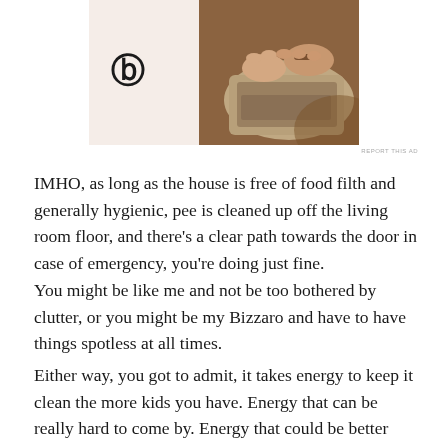[Figure (photo): Advertisement banner showing a person's hands typing on a laptop on a wooden table, with a WordPress logo on a beige/pink background. 'REPORT THIS AD' text below.]
IMHO, as long as the house is free of food filth and generally hygienic, pee is cleaned up off the living room floor, and there’s a clear path towards the door in case of emergency, you’re doing just fine.
You might be like me and not be too bothered by clutter, or you might be my Bizzaro and have to have things spotless at all times.
Either way, you got to admit, it takes energy to keep it clean the more kids you have. Energy that can be really hard to come by. Energy that could be better used